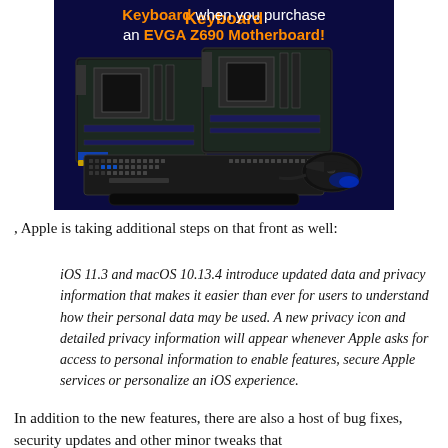[Figure (illustration): Advertisement image with dark navy background showing two EVGA Z690 motherboards, a mechanical keyboard, and a gaming mouse. Text overlay reads 'Keyboard when you purchase an EVGA Z690 Motherboard!' with 'Keyboard' and 'EVGA Z690 Motherboard!' in orange bold and the rest in white.]
, Apple is taking additional steps on that front as well:
iOS 11.3 and macOS 10.13.4 introduce updated data and privacy information that makes it easier than ever for users to understand how their personal data may be used. A new privacy icon and detailed privacy information will appear whenever Apple asks for access to personal information to enable features, secure Apple services or personalize an iOS experience.
In addition to the new features, there are also a host of bug fixes, security updates and other minor tweaks that...